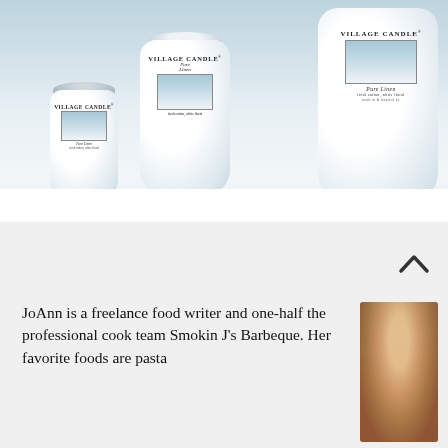[Figure (photo): Product photo of three Village Candle 'Pure Linen' jar candles in different sizes arranged on a white surface. Labels show cotton branch imagery.]
CLICK TO SHOP NOW
[Figure (other): Up/back-to-top arrow chevron icon on light gray background]
JoAnn is a freelance food writer and one-half the professional cook team Smokin J's Barbeque. Her favorite foods are pasta
[Figure (photo): Small portrait photo of a woman with reddish-brown hair outdoors]